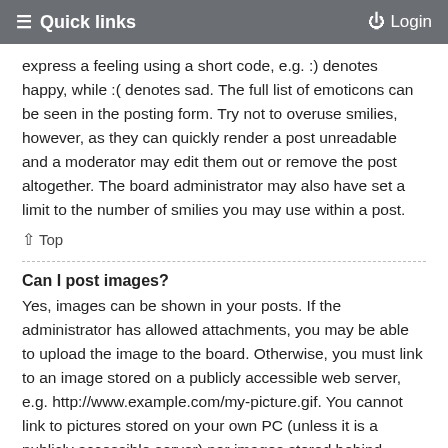Quick links   Login
express a feeling using a short code, e.g. :) denotes happy, while :( denotes sad. The full list of emoticons can be seen in the posting form. Try not to overuse smilies, however, as they can quickly render a post unreadable and a moderator may edit them out or remove the post altogether. The board administrator may also have set a limit to the number of smilies you may use within a post.
↑ Top
Can I post images?
Yes, images can be shown in your posts. If the administrator has allowed attachments, you may be able to upload the image to the board. Otherwise, you must link to an image stored on a publicly accessible web server, e.g. http://www.example.com/my-picture.gif. You cannot link to pictures stored on your own PC (unless it is a publicly accessible server) nor images stored behind authentication mechanisms,